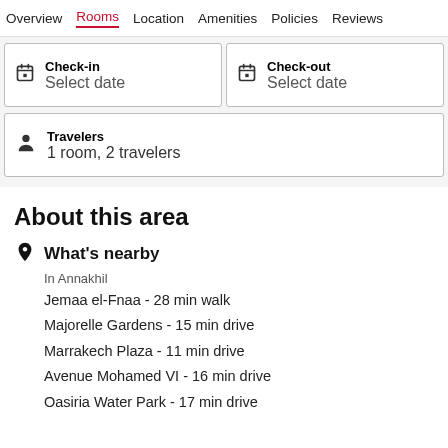Overview | Rooms | Location | Amenities | Policies | Reviews
Check-in – Select date
Check-out – Select date
Travelers – 1 room, 2 travelers
About this area
What's nearby
In Annakhil
Jemaa el-Fnaa - 28 min walk
Majorelle Gardens - 15 min drive
Marrakech Plaza - 11 min drive
Avenue Mohamed VI - 16 min drive
Oasiria Water Park - 17 min drive